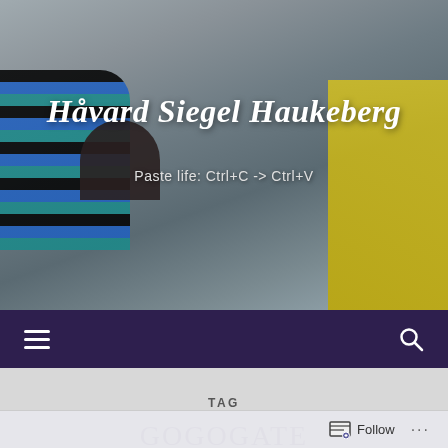[Figure (photo): Blog header photo showing people outdoors in winter clothing including striped jacket, dark fur hat, yellow jacket, and winter hats with snowy/gray background]
Håvard Siegel Haukeberg
Paste life: Ctrl+C -> Ctrl+V
≡   🔍
TAG
GOGOGATE
Connecting the Smart Garage
Follow  ...